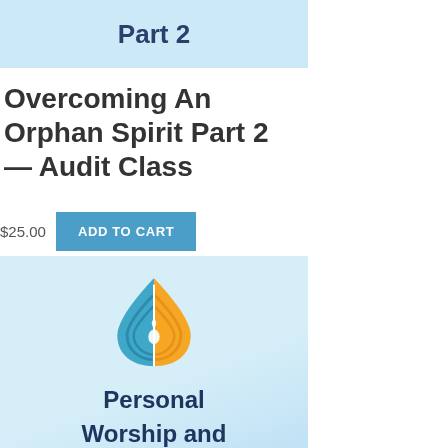Part 2
Overcoming An Orphan Spirit Part 2 — Audit Class
$25.00
ADD TO CART
[Figure (logo): Droplet-shaped logo split into blue and orange/yellow halves with a flame/light symbol inside, on a light blue gradient background]
Personal
Worship and